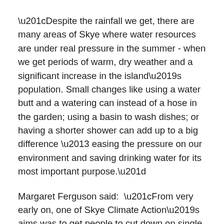“Despite the rainfall we get, there are many areas of Skye where water resources are under real pressure in the summer - when we get periods of warm, dry weather and a significant increase in the island’s population. Small changes like using a water butt and a watering can instead of a hose in the garden; using a basin to wash dishes; or having a shorter shower can add up to a big difference – easing the pressure on our environment and saving drinking water for its most important purpose.”
Margaret Ferguson said: “From very early on, one of Skye Climate Action’s aims was to get people to cut down on single use plastics so we are delighted to see the Top Up Tap in Somerled Square which helps people to do just that.